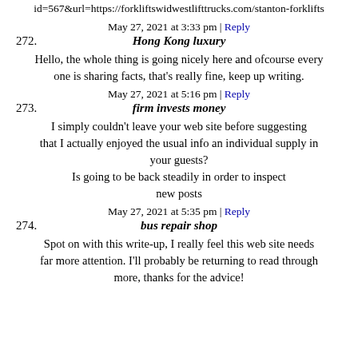id=567&url=https://forkliftswidwestlifttrucks.com/stanton-forklifts
May 27, 2021 at 3:33 pm | Reply
272. Hong Kong luxury
Hello, the whole thing is going nicely here and ofcourse every one is sharing facts, that's really fine, keep up writing.
May 27, 2021 at 5:16 pm | Reply
273. firm invests money
I simply couldn't leave your web site before suggesting that I actually enjoyed the usual info an individual supply in your guests? Is going to be back steadily in order to inspect new posts
May 27, 2021 at 5:35 pm | Reply
274. bus repair shop
Spot on with this write-up, I really feel this web site needs far more attention. I'll probably be returning to read through more, thanks for the advice!